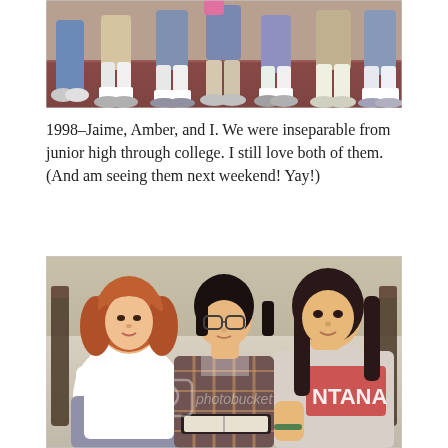[Figure (photo): A vintage photograph showing the lower bodies and legs of several young people sitting together outdoors on what appears to be a patterned surface. They are wearing casual clothes, shorts, jeans, and white sneakers/shoes. Only legs and feet are visible.]
1998–Jaime, Amber, and I. We were inseparable from junior high through college. I still love both of them. (And am seeing them next weekend! Yay!)
[Figure (photo): A vintage photograph of three young women sitting together on a bed or couch. The woman on the left has long reddish hair and wears a white turtleneck. The woman in the middle has dark hair with bangs and wears glasses and a plaid shirt. The woman on the right has long dark hair and wears a gray Indiana University sweatshirt. There is an open book or binder on the lap of the middle person. The photo has a Photobucket watermark overlay.]